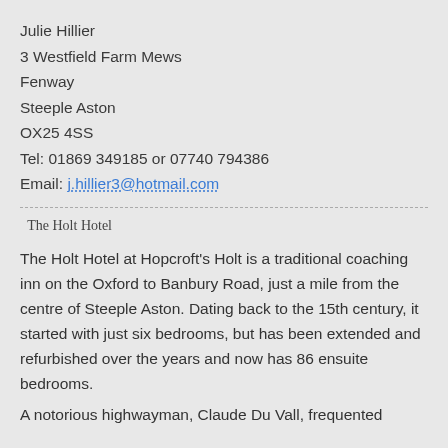Julie Hillier
3 Westfield Farm Mews
Fenway
Steeple Aston
OX25 4SS
Tel: 01869 349185 or 07740 794386
Email: j.hillier3@hotmail.com
The Holt Hotel
The Holt Hotel at Hopcroft's Holt is a traditional coaching inn on the Oxford to Banbury Road, just a mile from the centre of Steeple Aston. Dating back to the 15th century, it started with just six bedrooms, but has been extended and refurbished over the years and now has 86 ensuite bedrooms.
A notorious highwayman, Claude Du Vall, frequented